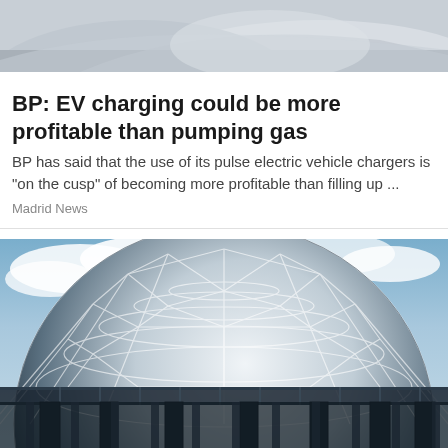[Figure (photo): Top partial image showing what appears to be a car or vehicle, cropped at the top of the page]
BP: EV charging could be more profitable than pumping gas
BP has said that the use of its pulse electric vehicle chargers is "on the cusp" of becoming more profitable than filling up ...
Madrid News
[Figure (photo): Large photograph of a geodesic dome structure with triangular glass/metal panels, shot from below against a cloudy blue sky, with metal walkways and railings visible around the equator of the dome]